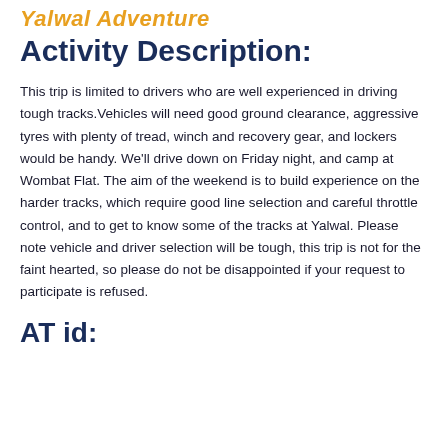Yalwal Adventure
Activity Description:
This trip is limited to drivers who are well experienced in driving tough tracks.Vehicles will need good ground clearance, aggressive tyres with plenty of tread, winch and recovery gear, and lockers would be handy. We'll drive down on Friday night, and camp at Wombat Flat. The aim of the weekend is to build experience on the harder tracks, which require good line selection and careful throttle control, and to get to know some of the tracks at Yalwal. Please note vehicle and driver selection will be tough, this trip is not for the faint hearted, so please do not be disappointed if your request to participate is refused.
AT id: